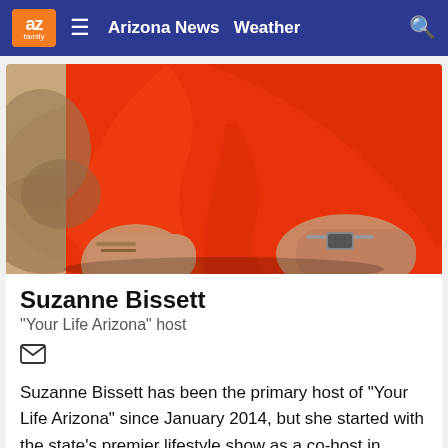az family | Arizona News  Weather
[Figure (photo): Close-up photo of a woman wearing a bright orange/red sleeveless top, showing her torso and arms with bracelets and a watch, with a blurred outdoor background.]
Suzanne Bissett
"Your Life Arizona" host
Suzanne Bissett has been the primary host of "Your Life Arizona" since January 2014, but she started with the state's premier lifestyle show as a co-host in September 2011.